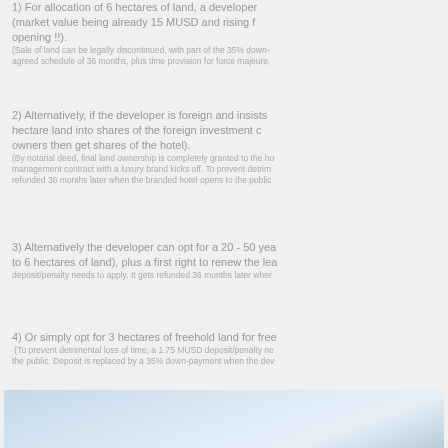1) For allocation of 6 hectares of land, a developer (market value being already 15 MUSD and rising fast after opening !!). (Sale of land can be legally discontinued, with part of the 35% down-agreed schedule of 36 months, plus time provision for force majeure,
2) Alternatively, if the developer is foreign and insists on hectare land into shares of the foreign investment c owners then get shares of the hotel). (By notarial deed, final land ownership is completely granted to the ho management contract with a luxury brand kicks off. To prevent detrim refunded 36 months later when the branded hotel opens to the public
3) Alternatively the developer can opt for a 20 - 50 yea to 6 hectares of land), plus a first right to renew the le deposit/penalty needs to apply. It gets refunded 36 months later wher
4) Or simply opt for 3 hectares of freehold land for free (To prevent detrimental loss of time, a 1.75 MUSD deposit/penalty ne the public. Deposit is replaced by a 35% down-payment when the dev
[Figure (photo): Aerial or landscape photo with light blue sky tones, partially visible at bottom of page]